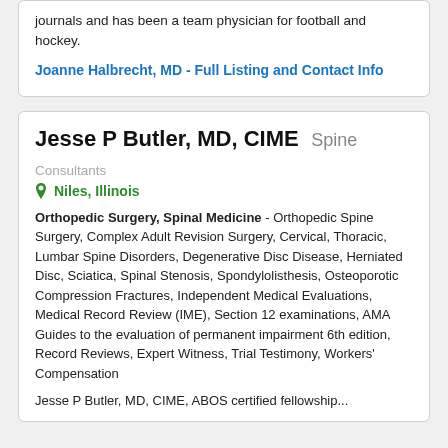journals and has been a team physician for football and hockey.
Joanne Halbrecht, MD - Full Listing and Contact Info
Jesse P Butler, MD, CIME  Spine
Consultants
Niles, Illinois
Orthopedic Surgery, Spinal Medicine - Orthopedic Spine Surgery, Complex Adult Revision Surgery, Cervical, Thoracic, Lumbar Spine Disorders, Degenerative Disc Disease, Herniated Disc, Sciatica, Spinal Stenosis, Spondylolisthesis, Osteoporotic Compression Fractures, Independent Medical Evaluations, Medical Record Review (IME), Section 12 examinations, AMA Guides to the evaluation of permanent impairment 6th edition, Record Reviews, Expert Witness, Trial Testimony, Workers' Compensation
Jesse P Butler, MD, CIME, ABOS certified fellowship...